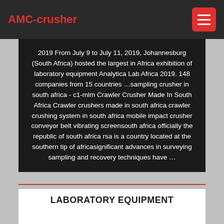AMC-crusher
2019 From July 9 to July 11, 2019, Johannesburg (South Africa) hosted the largest in Africa exhibition of laboratory equipment Analytica Lab Africa 2019. 148 companies from 15 countries …sampling crusher in south africa - c1-mlm Crawler Crusher Made In South Africa Crawler crushers made in south africa crawler crushing system in south africa mobile impact crusher conveyor belt vibrating screensouth africa officially the republic of south africa rsa is a country located at the southern tip of africasignificant advances in surveying sampling and recovery techniques have …
LABORATORY EQUIPMENT